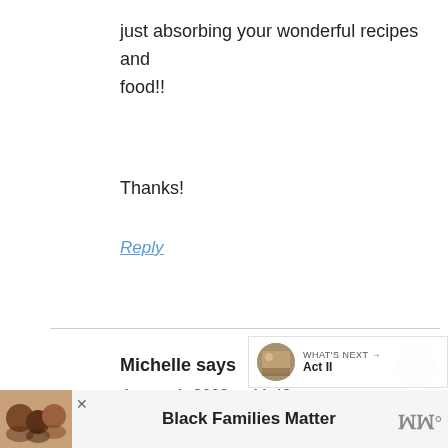just absorbing your wonderful recipes and food!!
Thanks!
Reply
Michelle says
August 1, 2008 at 11:43 am
Forgot to ask, what kind of cereal d[o you] eat with your yogurt???
[Figure (infographic): What's Next overlay with thumbnail and label 'Act II']
[Figure (photo): Ad banner showing 'Black Families Matter' with family photo and streaming logo]